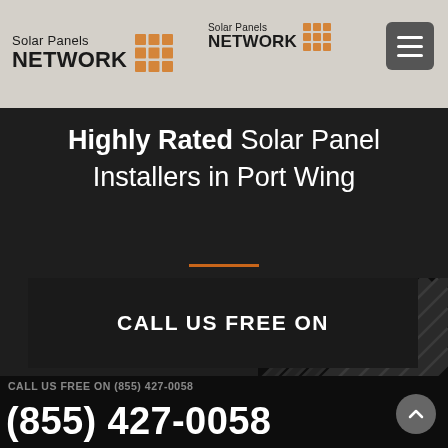Solar Panels NETWORK | Solar Panels NETWORK
Highly Rated Solar Panel Installers in Port Wing
CALL US FREE ON
CALL US FREE ON (855) 427-0058
(855) 427-0058